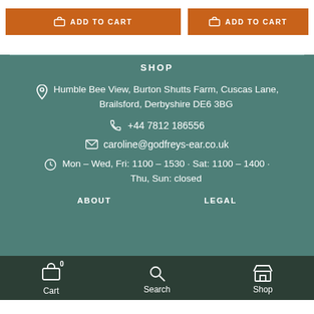ADD TO CART | ADD TO CART
SHOP
Humble Bee View, Burton Shutts Farm, Cuscas Lane, Brailsford, Derbyshire DE6 3BG
+44 7812 186556
caroline@godfreys-ear.co.uk
Mon – Wed, Fri: 1100 – 1530 · Sat: 1100 – 1400 · Thu, Sun: closed
ABOUT    LEGAL
Cart   Search   Shop